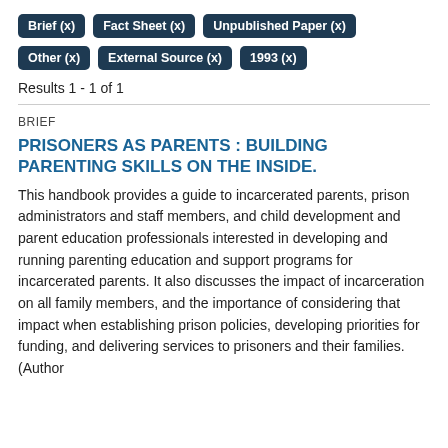Brief (x)
Fact Sheet (x)
Unpublished Paper (x)
Other (x)
External Source (x)
1993 (x)
Results 1 - 1 of 1
BRIEF
PRISONERS AS PARENTS : BUILDING PARENTING SKILLS ON THE INSIDE.
This handbook provides a guide to incarcerated parents, prison administrators and staff members, and child development and parent education professionals interested in developing and running parenting education and support programs for incarcerated parents. It also discusses the impact of incarceration on all family members, and the importance of considering that impact when establishing prison policies, developing priorities for funding, and delivering services to prisoners and their families. (Author